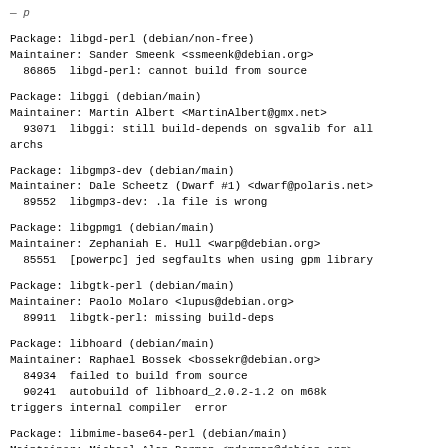— (partial, top of page cut off)
Package: libgd-perl (debian/non-free)
Maintainer: Sander Smeenk <ssmeenk@debian.org>
  86865  libgd-perl: cannot build from source
Package: libggi (debian/main)
Maintainer: Martin Albert <MartinAlbert@gmx.net>
  93071  libggi: still build-depends on sgvalib for all archs
Package: libgmp3-dev (debian/main)
Maintainer: Dale Scheetz (Dwarf #1) <dwarf@polaris.net>
  89552  libgmp3-dev: .la file is wrong
Package: libgpmg1 (debian/main)
Maintainer: Zephaniah E. Hull <warp@debian.org>
  85551  [powerpc] jed segfaults when using gpm library
Package: libgtk-perl (debian/main)
Maintainer: Paolo Molaro <lupus@debian.org>
  89911  libgtk-perl: missing build-deps
Package: libhoard (debian/main)
Maintainer: Raphael Bossek <bossekr@debian.org>
  84934  failed to build from source
  90241  autobuild of libhoard_2.0.2-1.2 on m68k triggers internal compiler  error
Package: libmime-base64-perl (debian/main)
Maintainer: Michael Alan Dorman <mdorman@debian.org>